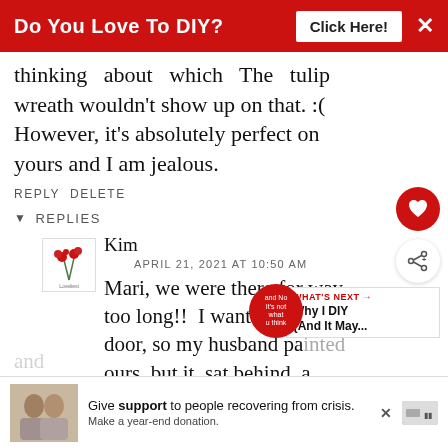[Figure (screenshot): Red advertisement banner at top: 'Do You Love To DIY? Click Here!' with X close button]
thinking about which The tulip wreath wouldn't show up on that. :( However, it's absolutely perfect on yours and I am jealous.
REPLY DELETE
▾ REPLIES
[Figure (logo): Small floral logo avatar for commenter Kim]
Kim
APRIL 21, 2021 AT 10:50 AM
Mari, we were there for way too long!! I wanted door, so my husband painted ours, but it sat behind a
[Figure (screenshot): Heart (like) button circle in dark red, share button circle. 'WHAT'S NEXT → Why I DIY {And It May...' promo. Red circle with partial text.]
[Figure (screenshot): Bottom advertisement banner: photo of couple, 'Give support to people recovering from crisis. Make a year-end donation.' with X close button and payment icon]